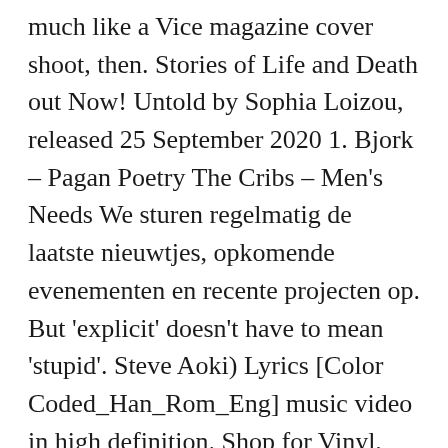much like a Vice magazine cover shoot, then. Stories of Life and Death out Now! Untold by Sophia Loizou, released 25 September 2020 1. Bjork – Pagan Poetry The Cribs – Men's Needs We sturen regelmatig de laatste nieuwtjes, opkomende evenementen en recente projecten op. But 'explicit' doesn't have to mean 'stupid'. Steve Aoki) Lyrics [Color Coded_Han_Rom_Eng] music video in high definition. Shop for Vinyl, CDs and more from Untold at the Discogs Marketplace. Music video by Buju Banton performing Untold Stories. – It's The 18 Most Explicit Music Videos Ever. Cough. Watch Kaun Tujhe – instrumental full video song from M.S. Far from being axed by the network, it won two MTV Awards in